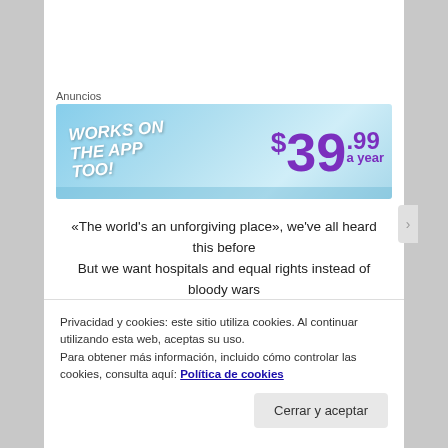Anuncios
[Figure (photo): Advertisement banner with light blue background. Left side shows white bold italic text 'WORKS ON THE APP TOO!' on blue. Right side shows '$39.99 a year' in large purple bold text.]
«The world's an unforgiving place», we've all heard this before
But we want hospitals and equal rights instead of bloody wars
We want the right to blow our minds, as crazy as it seems
Privacidad y cookies: este sitio utiliza cookies. Al continuar utilizando esta web, aceptas su uso.
Para obtener más información, incluido cómo controlar las cookies, consulta aquí: Política de cookies
Cerrar y aceptar